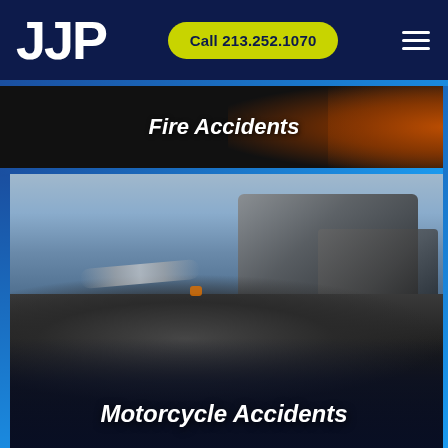JJP
Call 213.252.1070
Fire Accidents
[Figure (photo): Motorcycle accident scene showing a fallen motorcyclist on the road with a car in the background, taken from close to ground level]
Motorcycle Accidents